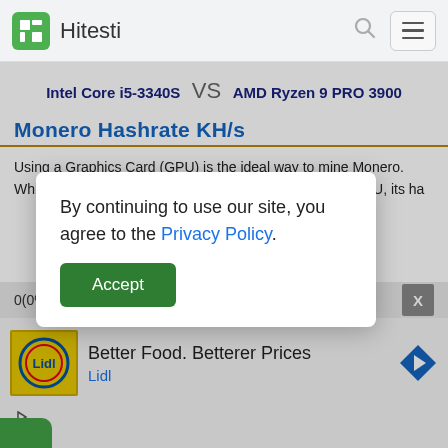Hitesti
Intel Core i5-3340S VS AMD Ryzen 9 PRO 3900
Monero Hashrate KH/s
Using a Graphics Card (GPU) is the ideal way to mine Monero. While it requ... CPU, its ha...
By continuing to use our site, you agree to the Privacy Policy.
Accept
0(0%)
[Figure (screenshot): Advertisement: Better Food. Betterer Prices - Lidl]
Better Food. Betterer Prices
Lidl